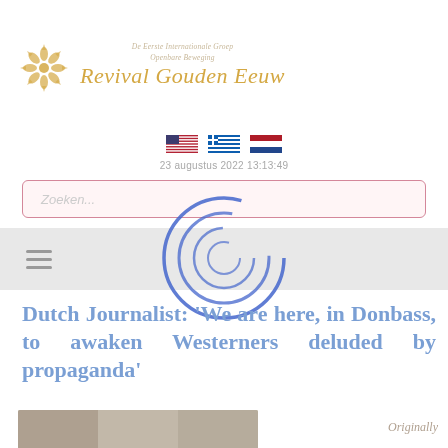[Figure (logo): Golden snowflake/flower logo icon and stylized text header reading 'De Eerste Internationale Groep Openbare Beweging Revival Gouden Eeuw']
[Figure (infographic): Three country flag icons (USA, European/other flag, Netherlands) used as language selectors]
23 augustus 2022 13:13:49
[Figure (screenshot): Search input box with placeholder text 'Zoeken...' and pink/rose border]
[Figure (infographic): Blue concentric circle loading spinner overlay centered on the navigation area]
[Figure (infographic): Hamburger menu icon (three horizontal lines) in the navigation bar]
Dutch Journalist: 'We are here, in Donbass, to awaken Westerners deluded by propaganda'
Originally